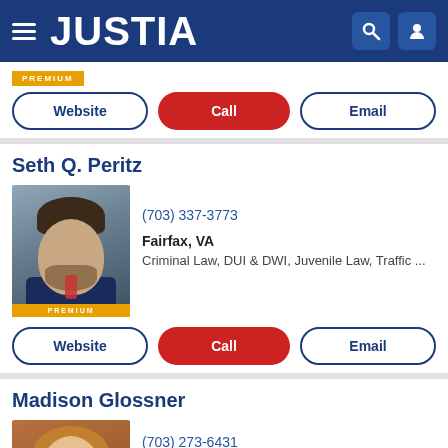JUSTIA
PREMIUM
Website | Call | Email
Seth Q. Peritz
(703) 337-3773
Fairfax, VA
Criminal Law, DUI & DWI, Juvenile Law, Traffic ...
Website | Call | Email
Madison Glossner
(703) 273-6431
Fairfax, VA
Criminal Law, DUI & DWI, Traffic Tickets, Dome...